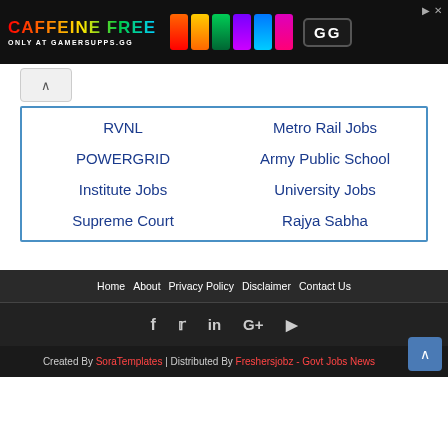[Figure (screenshot): Advertisement banner for GamerSupps.gg - Caffeine Free product with colorful cans and logo]
RVNL
Metro Rail Jobs
POWERGRID
Army Public School
Institute Jobs
University Jobs
Supreme Court
Rajya Sabha
Home  About  Privacy Policy  Disclaimer  Contact Us
f  t  in  G+  ▶
Created By SoraTemplates | Distributed By Freshersjobz - Govt Jobs News